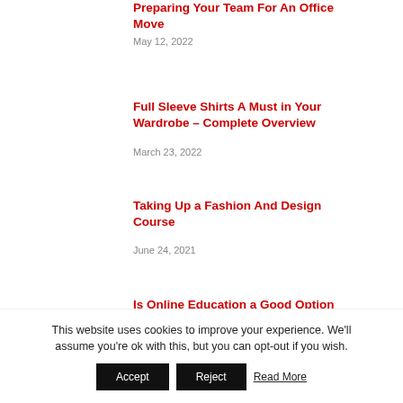Preparing Your Team For An Office Move
May 12, 2022
Full Sleeve Shirts A Must in Your Wardrobe – Complete Overview
March 23, 2022
Taking Up a Fashion And Design Course
June 24, 2021
Is Online Education a Good Option
This website uses cookies to improve your experience. We'll assume you're ok with this, but you can opt-out if you wish.